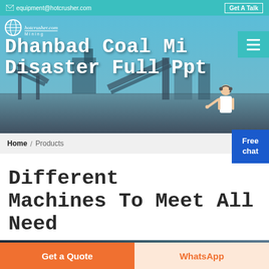equipment@hotcrusher.com  Get A Talk
[Figure (screenshot): Website hero banner showing mining equipment/machinery with teal background. Logo with globe icon. Text overlay: 'Dhanbad Coal Mining Disaster Full Ppt' in large white monospace font. Hamburger menu button top-right.]
Dhanbad Coal Mining Disaster Full Ppt
Home / Products
Different Machines To Meet All Need
[Figure (photo): Partial view of mining/industrial machinery, dark tones]
Get a Quote
WhatsApp